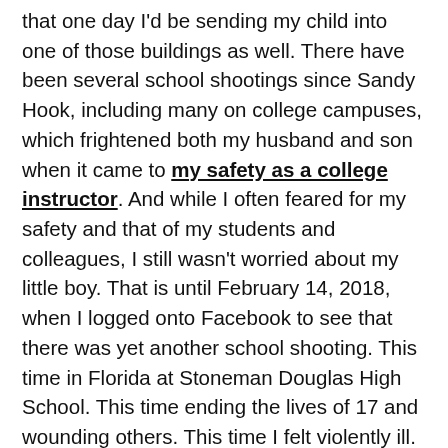that one day I'd be sending my child into one of those buildings as well. There have been several school shootings since Sandy Hook, including many on college campuses, which frightened both my husband and son when it came to my safety as a college instructor. And while I often feared for my safety and that of my students and colleagues, I still wasn't worried about my little boy. That is until February 14, 2018, when I logged onto Facebook to see that there was yet another school shooting. This time in Florida at Stoneman Douglas High School. This time ending the lives of 17 and wounding others. This time I felt violently ill. What made this time different? My firstborn is now a kindergartner. My husband now teaches at the middle school on the upper campus with an adjoining high school. Two different buildings. Two different places for me to worry about if a shooting takes place. I've watched students and parents beg for solutions and gun control. I've watched as our lawmakers refuse to take a stand instead saying that we should arm teachers. I want them to be safe but there is absolutely